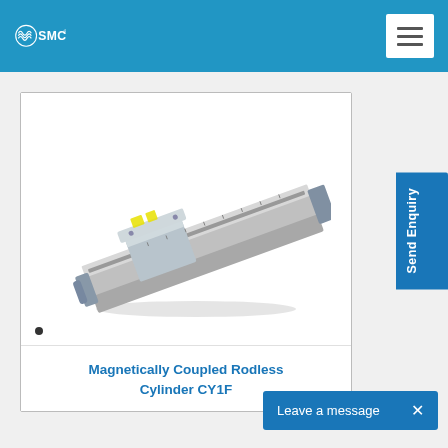SMC
[Figure (photo): SMC Magnetically Coupled Rodless Cylinder CY1F — a linear pneumatic actuator with aluminum rail body, sliding carriage, and rod-end fitting shown in 3D perspective view]
Magnetically Coupled Rodless Cylinder CY1F
Leave a message  ×